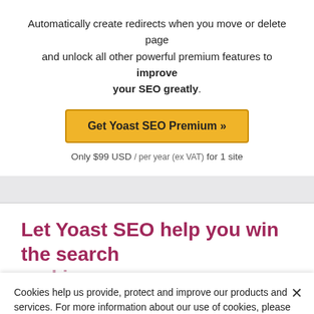Automatically create redirects when you move or delete page and unlock all other powerful premium features to improve your SEO greatly.
[Figure (other): Yellow 'Get Yoast SEO Premium »' call-to-action button]
Only $99 USD / per year (ex VAT) for 1 site
Let Yoast SEO help you win the search rankings
Cookies help us provide, protect and improve our products and services. For more information about our use of cookies, please refer to our Privacy policy.